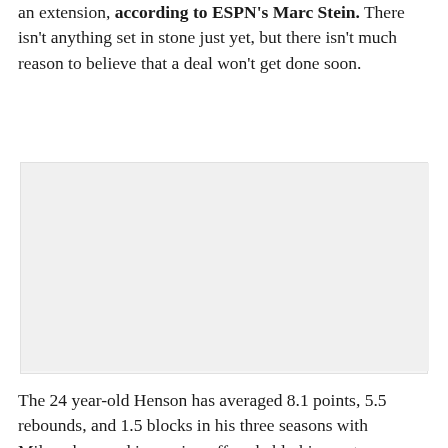an extension, according to ESPN's Marc Stein. There isn't anything set in stone just yet, but there isn't much reason to believe that a deal won't get done soon.
[Figure (photo): A large image placeholder (light gray rectangle) in the middle of the article, likely a photo of John Henson or related NBA content.]
The 24 year-old Henson has averaged 8.1 points, 5.5 rebounds, and 1.5 blocks in his three seasons with Milwaukee, and is coming off probably his most